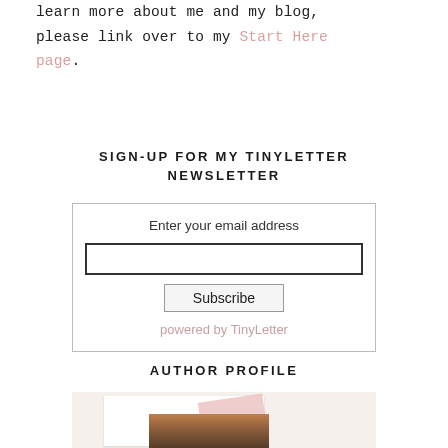learn more about me and my blog, please link over to my Start Here page.
SIGN-UP FOR MY TINYLETTER NEWSLETTER
[Figure (other): Newsletter signup widget with email input field, Subscribe button, and 'powered by TinyLetter' text]
AUTHOR PROFILE
[Figure (photo): Author profile photo of a woman with long auburn hair, displayed in a photo frame style with pink tape and decorative dotted background on cream/beige card]